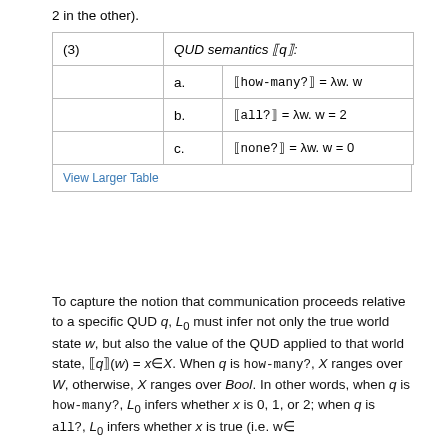2 in the other).
| (3) | QUD semantics ⟦q⟧: |
| --- | --- |
|  | a. | ⟦how-many?⟧ = λw. w |
|  | b. | ⟦all?⟧ = λw. w = 2 |
|  | c. | ⟦none?⟧ = λw. w = 0 |
View Larger Table
To capture the notion that communication proceeds relative to a specific QUD q, L₀ must infer not only the true world state w, but also the value of the QUD applied to that world state, ⟦q⟧(w) = x∈X. When q is how-many?, X ranges over W, otherwise, X ranges over Bool. In other words, when q is how-many?, L₀ infers whether x is 0, 1, or 2; when q is all?, L₀ infers whether x is true (i.e. w∈